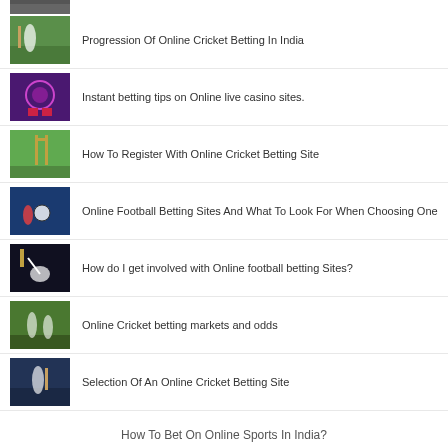[Figure (photo): Partial cricket/sports image at top]
Progression Of Online Cricket Betting In India
Instant betting tips on Online live casino sites.
How To Register With Online Cricket Betting Site
Online Football Betting Sites And What To Look For When Choosing One
How do I get involved with Online football betting Sites?
Online Cricket betting markets and odds
Selection Of An Online Cricket Betting Site
How To Bet On Online Sports In India?